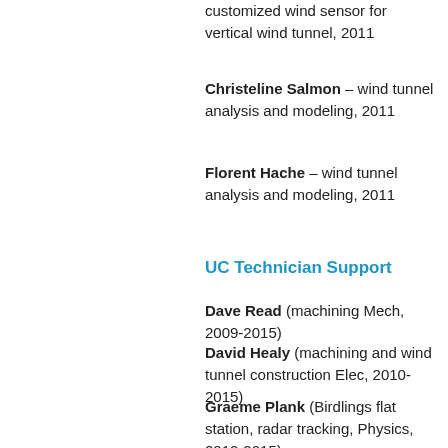customized wind sensor for vertical wind tunnel, 2011
Christeline Salmon – wind tunnel analysis and modeling, 2011
Florent Hache – wind tunnel analysis and modeling, 2011
UC Technician Support
Dave Read (machining Mech, 2009-2015)
David Healy (machining and wind tunnel construction Elec, 2010-2015)
Graeme Plank (Birdlings flat station, radar tracking, Physics, 2012-2015)
Matt Pannell (radar tracking Physics, 2012-2014)
Geoff Graham (radar tracking Physics,